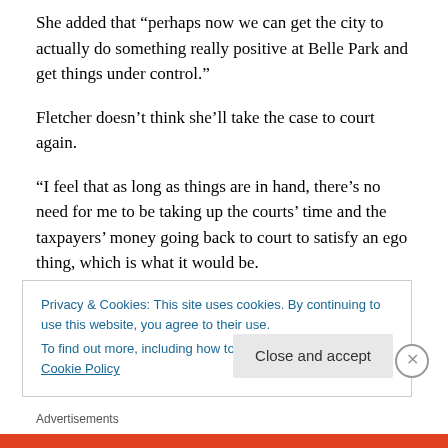She added that “perhaps now we can get the city to actually do something really positive at Belle Park and get things under control.”
Fletcher doesn’t think she’ll take the case to court again.
“I feel that as long as things are in hand, there’s no need for me to be taking up the courts’ time and the taxpayers’ money going back to court to satisfy an ego thing, which is what it would be.
“Essentially, what has happened is the right thing – the
Privacy & Cookies: This site uses cookies. By continuing to use this website, you agree to their use.
To find out more, including how to control cookies, see here: Cookie Policy
Close and accept
Advertisements